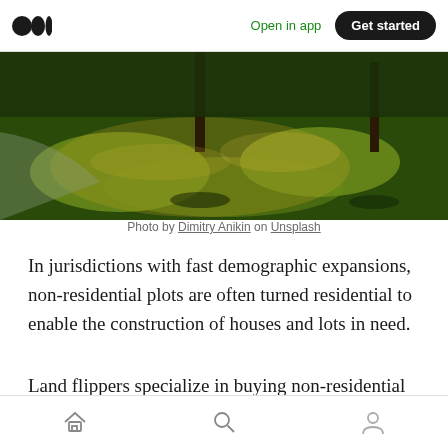Open in app  Get started
[Figure (photo): Outdoor grassy area with trees in warm sunset light]
Photo by Dimitry Anikin on Unsplash
In jurisdictions with fast demographic expansions, non-residential plots are often turned residential to enable the construction of houses and lots in need.
Land flippers specialize in buying non-residential plots near cities and wait until the land becomes
Home  Search  Profile